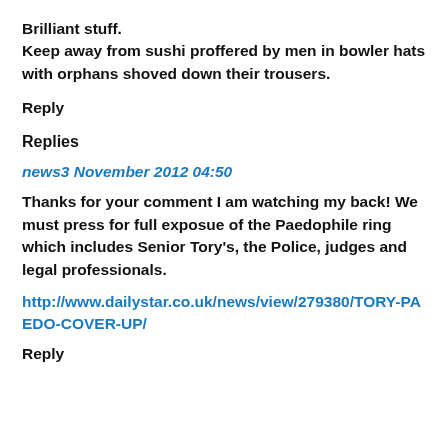Brilliant stuff.
Keep away from sushi proffered by men in bowler hats with orphans shoved down their trousers.
Reply
Replies
news3 November 2012 04:50
Thanks for your comment I am watching my back! We must press for full exposue of the Paedophile ring which includes Senior Tory's, the Police, judges and legal professionals.
http://www.dailystar.co.uk/news/view/279380/TORY-PAEDO-COVER-UP/
Reply